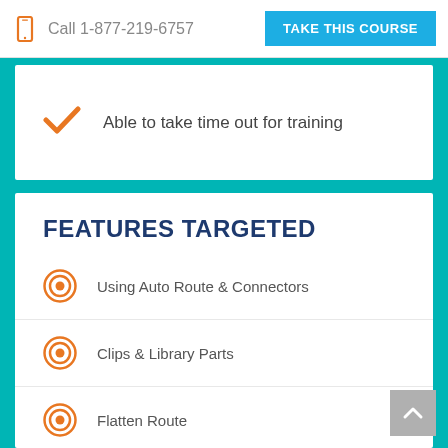Call 1-877-219-6757  |  TAKE THIS COURSE
Able to take time out for training
FEATURES TARGETED
Using Auto Route & Connectors
Clips & Library Parts
Flatten Route